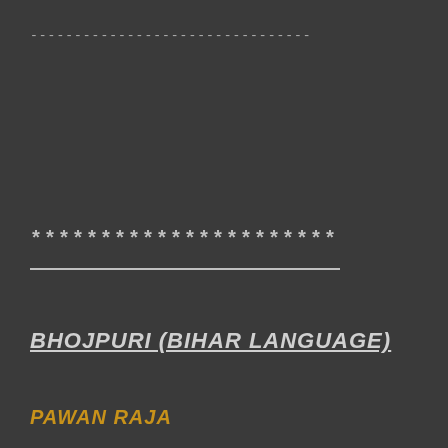--------------------------------
**********************
BHOJPURI (BIHAR LANGUAGE)
PAWAN RAJA